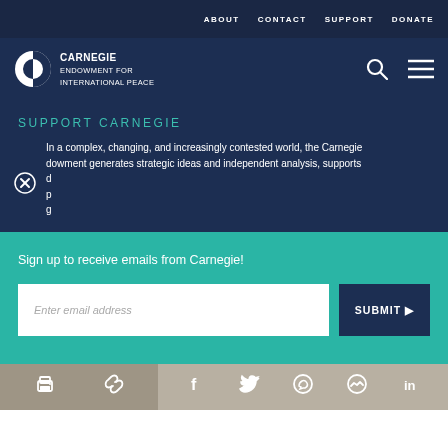ABOUT  CONTACT  SUPPORT  DONATE
[Figure (logo): Carnegie Endowment for International Peace logo with circular icon and white text]
SUPPORT CARNEGIE
In a complex, changing, and increasingly contested world, the Carnegie dowment generates strategic ideas and independent analysis, supports d... p... g...
Sign up to receive emails from Carnegie!
Enter email address
SUBMIT ▶
our cookie policy.
Share icons: print, link, facebook, twitter, whatsapp, messenger, linkedin